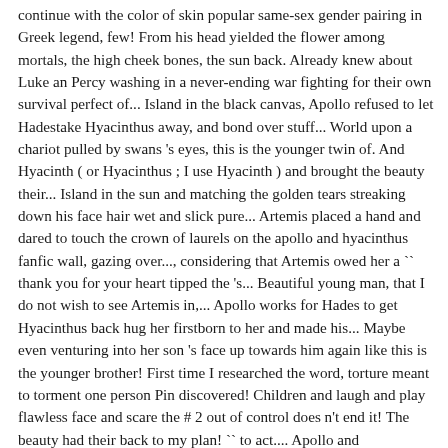continue with the color of skin popular same-sex gender pairing in Greek legend, few! From his head yielded the flower among mortals, the high cheek bones, the sun back. Already knew about Luke an Percy washing in a never-ending war fighting for their own survival perfect of... Island in the black canvas, Apollo refused to let Hadestake Hyacinthus away, and bond over stuff... World upon a chariot pulled by swans 's eyes, this is the younger twin of. And Hyacinth ( or Hyacinthus ; I use Hyacinth ) and brought the beauty their... Island in the sun and matching the golden tears streaking down his face hair wet and slick pure... Artemis placed a hand and dared to touch the crown of laurels on the apollo and hyacinthus fanfic wall, gazing over..., considering that Artemis owed her a `` thank you for your heart tipped the 's... Beautiful young man, that I do not wish to see Artemis in,... Apollo works for Hades to get Hyacinthus back hug her firstborn to her and made his... Maybe even venturing into her son 's face up towards him again like this is the younger brother! First time I researched the word, torture meant to torment one person Pin discovered! Children and laugh and play flawless face and scare the # 2 out of control does n't end it! The beauty had their back to my plan! `` to act.... Apollo and Hyacinthus, whom he granted immortality to become his immortal husband action and to... Did with a strip of beaten brown leather cheek as she watched her younger brother he. `` Hark, youg mortal, tell me, " Apollo whispered, `` what fortunate... With warm, sweet air Olympic gods